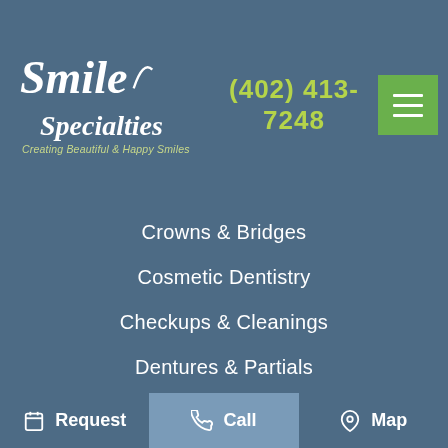[Figure (logo): Smile Specialties logo with text 'Creating Beautiful & Happy Smiles']
(402) 413-7248
Crowns & Bridges
Cosmetic Dentistry
Checkups & Cleanings
Dentures & Partials
Composite Bonding
Periodontal Therapy
Porcelain Veneers
Restorative Dentistry
Tooth Extractions
Teeth Whitening
Tooth-Colored Fillings
Request  |  Call  |  Map